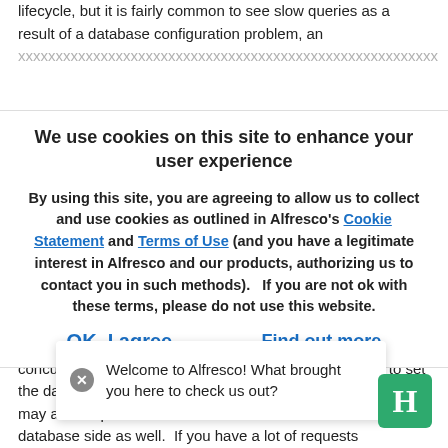lifecycle, but it is fairly common to see slow queries as a result of a database configuration problem, an
[Figure (screenshot): Cookie consent modal overlay with title 'We use cookies on this site to enhance your user experience', body text about agreeing to cookies and links to Cookie Statement and Terms of Use, with 'OK, I agree' and 'Find out more' buttons.]
of concurrent application server worker threads +75 to cover overhead from scheduled jobs, etc. If you have Tomcat configured to allow for 200 worker threads (200 concurrent HTT... ...to set the database p... ha... may also requi... database side as well. If you have a lot of requests
[Figure (screenshot): Tooltip popup showing 'Welcome to Alfresco! What brought you here to check us out?' with a close (X) button and Hire logo icon in bottom right.]